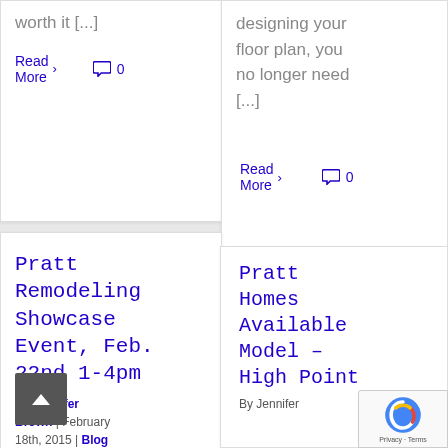worth it [...]
Read More
0
designing your floor plan, you no longer need [...]
Read More
0
Pratt Remodeling Showcase Event, Feb. 22nd 1-4pm
By Jennifer Brown | February 18th, 2015 | Blog
Pratt Homes Available Model – High Point
By Jennifer